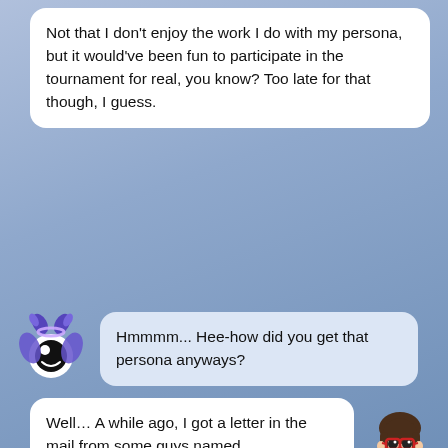Not that I don't enjoy the work I do with my persona, but it would've been fun to participate in the tournament for real, you know? Too late for that though, I guess.
Hmmmm... Hee-how did you get that persona anyways?
Well… A while ago, I got a letter in the mail from some guys named Nutshackwoodman34 and Jerome. It said I had been invited to the King For Another Day Tournament! I was pretty stoked for it, it was a chance to really show off my music chops! Once I got